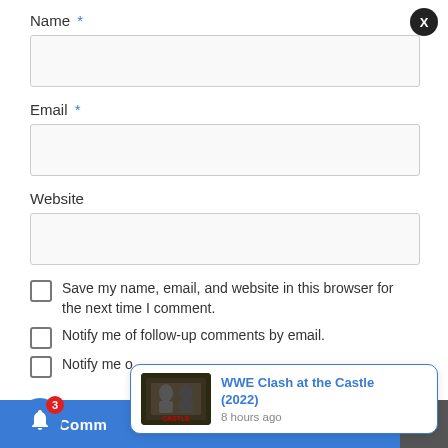Name *
[Figure (screenshot): Empty text input field for Name]
Email *
[Figure (screenshot): Empty text input field for Email]
Website
[Figure (screenshot): Empty text input field for Website]
Save my name, email, and website in this browser for the next time I comment.
Notify me of follow-up comments by email.
Notify me o
ost Comm
[Figure (screenshot): Notification popup showing WWE Clash at the Castle (2022) with thumbnail image and '8 hours ago' timestamp, with a close X button and a blue bell notification button with badge showing 3]